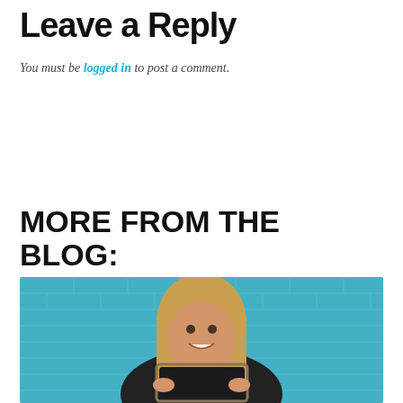Leave a Reply
You must be logged in to post a comment.
MORE FROM THE BLOG:
[Figure (photo): A smiling woman with long blonde hair holding a chalkboard sign, standing against a teal/blue brick wall background, wearing a dark top.]